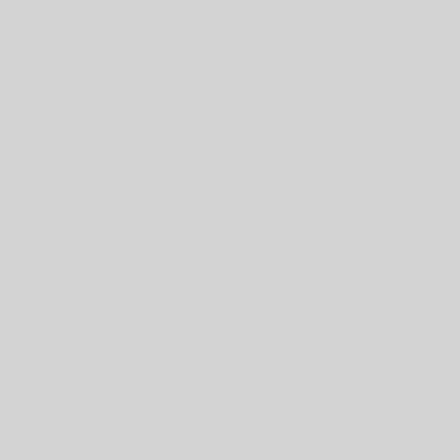| Type | Package | Status |
| --- | --- | --- |
| Binary: | ata-modules-3.16.0-6-loongson-3-di | unl |
| Binary: | ata-modules-3.16.0-6-parisc-di | unl |
| Binary: | ata-modules-3.16.0-6-parisc64-smp-di | unl |
| Binary: | ata-modules-3.16.0-6-powerpc-di | unl |
| Binary: | ata-modules-3.16.0-6-powerpc64-di | unl |
| Binary: | ata-modules-3.16.0-6-powerpc64le-di | unl |
| Binary: | ata-modules-3.16.0-6-sh1- | unl |